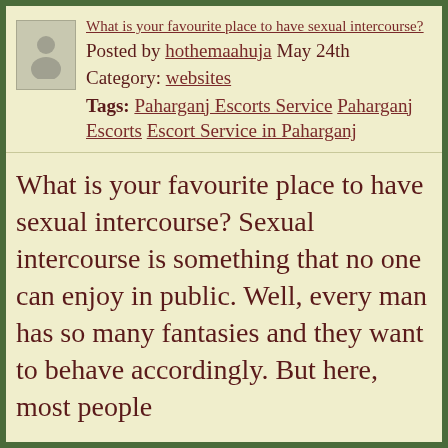[Figure (illustration): Gray placeholder avatar icon showing a generic person silhouette]
What is your favourite place to have sexual intercourse?
Posted by hothemaahuja May 24th
Category: websites
Tags: Paharganj Escorts Service Paharganj Escorts Escort Service in Paharganj
What is your favourite place to have sexual intercourse? Sexual intercourse is something that no one can enjoy in public. Well, every man has so many fantasies and they want to behave accordingly. But here, most people